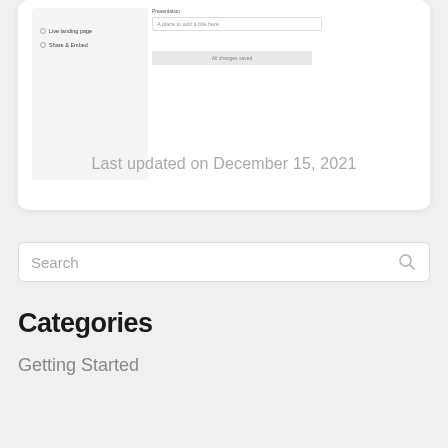[Figure (screenshot): A UI screenshot showing a sidebar with 'Live landing page' and 'Share & Embed' options, and a form area with a 'Presentation' label, a text input, and an 'All changes saved' button.]
Last updated on December 15, 2021
Search
Categories
Getting Started